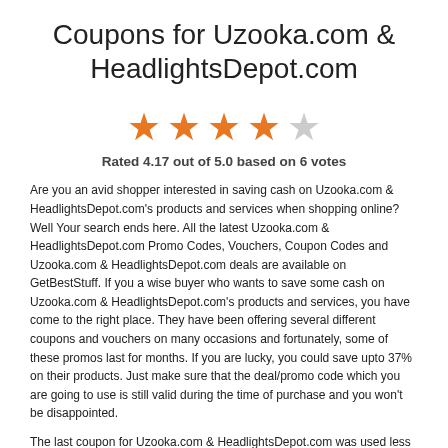Coupons for Uzooka.com & HeadlightsDepot.com
[Figure (other): 4 filled orange stars and 1 empty grey star rating display]
Rated 4.17 out of 5.0 based on 6 votes
Are you an avid shopper interested in saving cash on Uzooka.com & HeadlightsDepot.com's products and services when shopping online? Well Your search ends here. All the latest Uzooka.com & HeadlightsDepot.com Promo Codes, Vouchers, Coupon Codes and Uzooka.com & HeadlightsDepot.com deals are available on GetBestStuff. If you a wise buyer who wants to save some cash on Uzooka.com & HeadlightsDepot.com's products and services, you have come to the right place. They have been offering several different coupons and vouchers on many occasions and fortunately, some of these promos last for months. If you are lucky, you could save upto 37% on their products. Just make sure that the deal/promo code which you are going to use is still valid during the time of purchase and you won't be disappointed.
The last coupon for Uzooka.com & HeadlightsDepot.com was used less than 44 hours ago. The purchase went successfully and the buyer was able to obtain a discount by using a promo code from our site.
Uzooka.com & HeadlightsDepot.com Working Promo Codes and their Success Rates